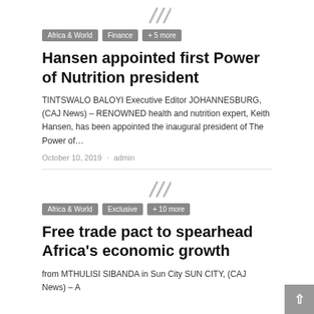[Figure (other): Placeholder image icon for article 1]
Africa & World  Finance  + 5 more
Hansen appointed first Power of Nutrition president
TINTSWALO BALOYI Executive Editor JOHANNESBURG, (CAJ News) – RENOWNED health and nutrition expert, Keith Hansen, has been appointed the inaugural president of The Power of…
October 10, 2019 · admin
[Figure (other): Placeholder image icon for article 2]
Africa & World  Exclusive  + 10 more
Free trade pact to spearhead Africa's economic growth
from MTHULISI SIBANDA in Sun City SUN CITY, (CAJ News) – A